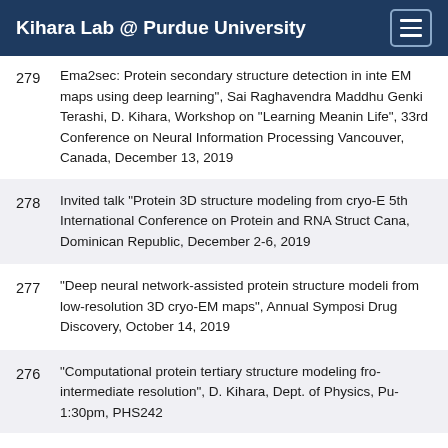Kihara Lab @ Purdue University
279  Ema2sec: Protein secondary structure detection in intermediate EM maps using deep learning", Sai Raghavendra Maddhuri, Genki Terashi, D. Kihara, Workshop on "Learning Meaning in Life", 33rd Conference on Neural Information Processing, Vancouver, Canada, December 13, 2019
278  Invited talk "Protein 3D structure modeling from cryo-EM", 5th International Conference on Protein and RNA Structure, Punta Cana, Dominican Republic, December 2-6, 2019
277  "Deep neural network-assisted protein structure modeling from low-resolution 3D cryo-EM maps", Annual Symposium on Drug Discovery, October 14, 2019
276  "Computational protein tertiary structure modeling from intermediate resolution", D. Kihara, Dept. of Physics, Purdue, 1:30pm, PHS242